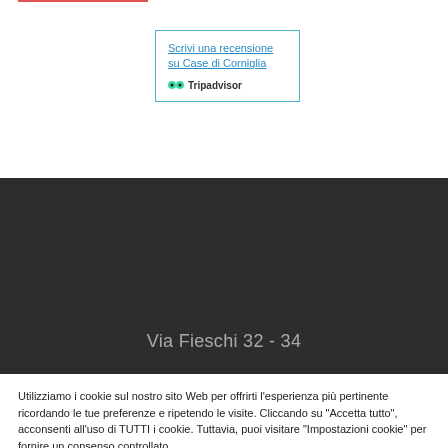[Figure (screenshot): TripAdvisor widget box with link 'Scrivi una recensione su Case di Corniglia' and TripAdvisor logo]
[Figure (photo): Dark background section showing 'Via Fieschi 32 - 34' text]
Utilizziamo i cookie sul nostro sito Web per offrirti l'esperienza più pertinente ricordando le tue preferenze e ripetendo le visite. Cliccando su "Accetta tutto", acconsenti all'uso di TUTTI i cookie. Tuttavia, puoi visitare "Impostazioni cookie" per fornire un consenso controllato.
Cookie Settings | Accept All | Reject All
Cookie Policy